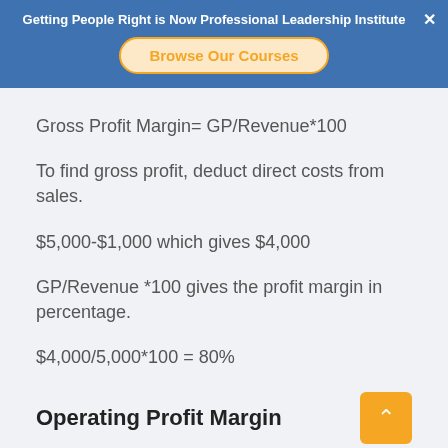Getting People Right is Now Professional Leadership Institute ×
Browse Our Courses
To find gross profit, deduct direct costs from sales.
$5,000-$1,000 which gives $4,000
GP/Revenue *100 gives the profit margin in percentage.
$4,000/5,000*100 = 80%
Operating Profit Margin
Operating Profit Margin= Operating...